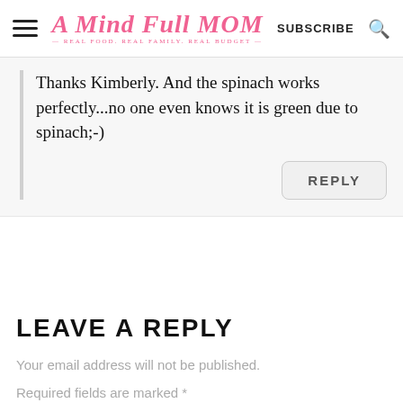A Mind Full Mom — REAL FOOD. REAL FAMILY. REAL BUDGET. | SUBSCRIBE
Thanks Kimberly. And the spinach works perfectly...no one even knows it is green due to spinach;-)
REPLY
LEAVE A REPLY
Your email address will not be published.
Required fields are marked *